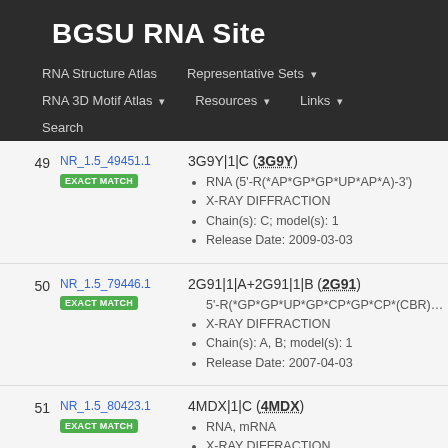BGSU RNA Site
RNA Structure Atlas | Representative Sets ▾ | RNA 3D Motif Atlas ▾ | Resources ▾ | Links ▾ | Search
49 NR_1.5_49451.1 EXACT MATCH | 3G9Y|1|C (3G9Y) • RNA (5'-R(*AP*GP*GP*UP*AP*A)-3') • X-RAY DIFFRACTION • Chain(s): C; model(s): 1 • Release Date: 2009-03-03
50 NR_1.5_79446.1 EXACT MATCH | 2G91|1|A+2G91|1|B (2G91) • 5'-R(*GP*GP*UP*GP*CP*GP*CP*(CBR)P*C-3' • X-RAY DIFFRACTION • Chain(s): A, B; model(s): 1 • Release Date: 2007-04-03
51 NR_1.5_80423.1 EXACT MATCH | 4MDX|1|C (4MDX) • RNA, mRNA • X-RAY DIFFRACTION